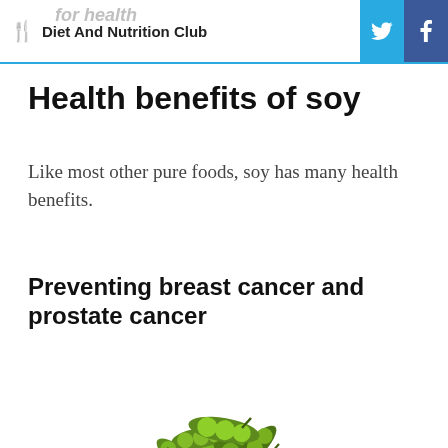Diet And Nutrition Club
Health benefits of soy
Like most other pure foods, soy has many health benefits.
Preventing breast cancer and prostate cancer
[Figure (photo): A red bowl filled with green edamame (soy bean pods) on a white background]